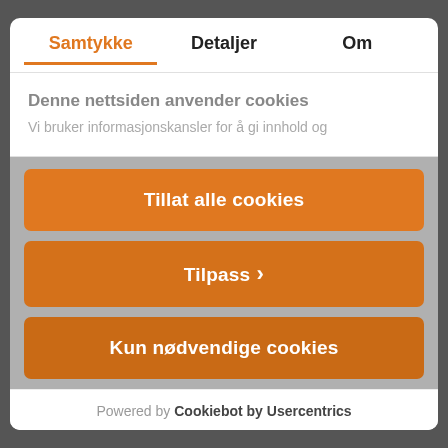Samtykke | Detaljer | Om
Denne nettsiden anvender cookies
Vi bruker informasjonskansler for å gi innhold og
Tillat alle cookies
Tilpass ›
Kun nødvendige cookies
Powered by Cookiebot by Usercentrics